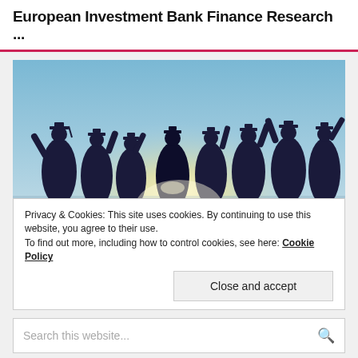European Investment Bank Finance Research ...
[Figure (photo): Silhouettes of graduating students in caps and gowns celebrating with raised fists against a bright sky background]
Privacy & Cookies: This site uses cookies. By continuing to use this website, you agree to their use.
To find out more, including how to control cookies, see here: Cookie Policy
Close and accept
Search this website...